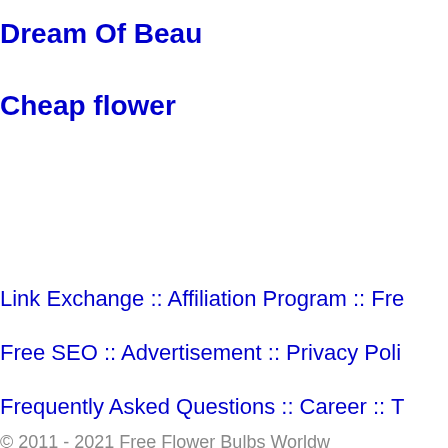Dream Of Beau
Cheap flower
Link Exchange :: Affiliation Program :: Fre
Free SEO :: Advertisement :: Privacy Poli
Frequently Asked Questions :: Career :: T
© 2011 - 2021 Free Flower Bulbs Worldw